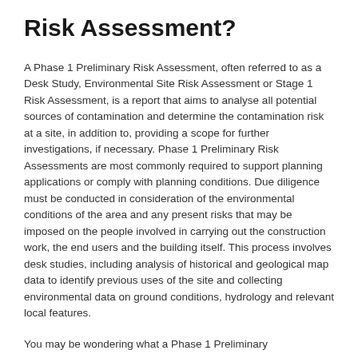Risk Assessment?
A Phase 1 Preliminary Risk Assessment, often referred to as a Desk Study, Environmental Site Risk Assessment or Stage 1 Risk Assessment, is a report that aims to analyse all potential sources of contamination and determine the contamination risk at a site, in addition to, providing a scope for further investigations, if necessary. Phase 1 Preliminary Risk Assessments are most commonly required to support planning applications or comply with planning conditions. Due diligence must be conducted in consideration of the environmental conditions of the area and any present risks that may be imposed on the people involved in carrying out the construction work, the end users and the building itself. This process involves desk studies, including analysis of historical and geological map data to identify previous uses of the site and collecting environmental data on ground conditions, hydrology and relevant local features.
You may be wondering what a Phase 1 Preliminary